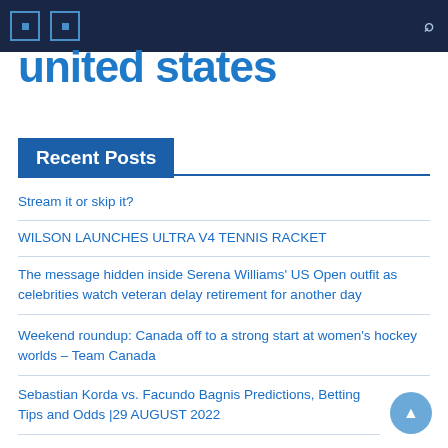united states
Recent Posts
Stream it or skip it?
WILSON LAUNCHES ULTRA V4 TENNIS RACKET
The message hidden inside Serena Williams' US Open outfit as celebrities watch veteran delay retirement for another day
Weekend roundup: Canada off to a strong start at women's hockey worlds – Team Canada
Sebastian Korda vs. Facundo Bagnis Predictions, Betting Tips and Odds  |29 AUGUST 2022